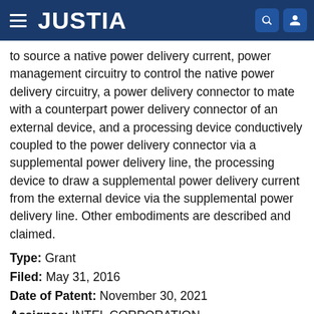JUSTIA
to source a native power delivery current, power management circuitry to control the native power delivery circuitry, a power delivery connector to mate with a counterpart power delivery connector of an external device, and a processing device conductively coupled to the power delivery connector via a supplemental power delivery line, the processing device to draw a supplemental power delivery current from the external device via the supplemental power delivery line. Other embodiments are described and claimed.
Type: Grant
Filed: May 31, 2016
Date of Patent: November 30, 2021
Assignee: INTEL CORPORATION
Inventors: Yu Liang Shiao, Tawfik M. Rahal-Arabi, Chang-Wu Yen, Celia H. Yang